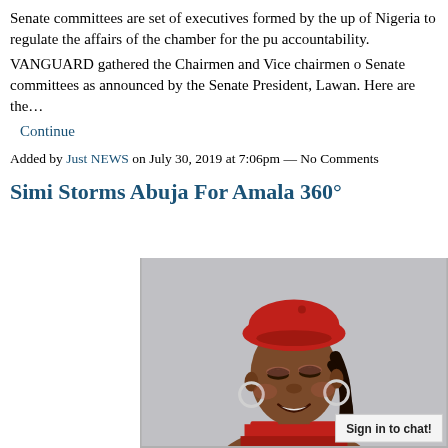Senate committees are set of executives formed by the up of Nigeria to regulate the affairs of the chamber for the pu accountability.
VANGUARD gathered the Chairmen and Vice chairmen o Senate committees as announced by the Senate President, Lawan. Here are the…
Continue
Added by Just NEWS on July 30, 2019 at 7:06pm — No Comments
Simi Storms Abuja For Amala 360°
[Figure (photo): Portrait photo of a young woman wearing a red beret hat and red outfit, smiling, with hoop earrings and braided hair, on a grey background. A 'Sign in to chat!' badge is visible in the lower right corner.]